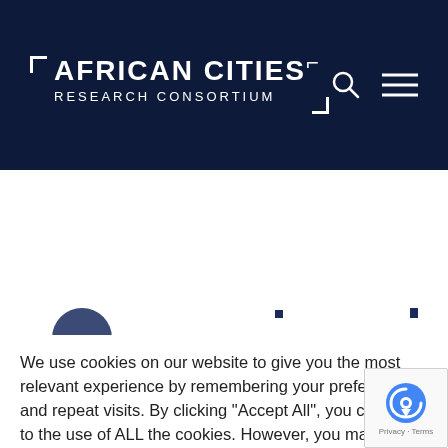[Figure (logo): African Cities Research Consortium logo — white text with bracket marks on dark navy background, with search and hamburger menu icons]
We use cookies on our website to give you the most relevant experience by remembering your preferences and repeat visits. By clicking "Accept All", you consent to the use of ALL the cookies. However, you may visit "Cookie Settings" to provide a controlled consent.
Cookie Settings
Accept All